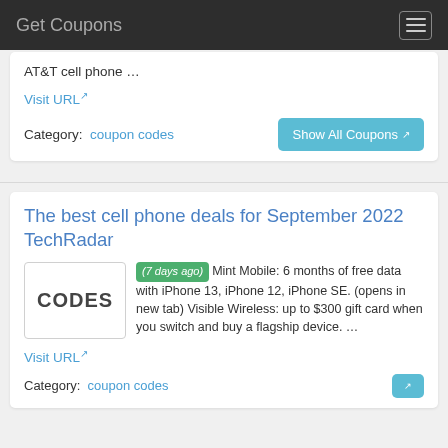Get Coupons
AT&T cell phone …
Visit URL
Category:  coupon codes
Show All Coupons
The best cell phone deals for September 2022 TechRadar
(7 days ago) Mint Mobile: 6 months of free data with iPhone 13, iPhone 12, iPhone SE. (opens in new tab) Visible Wireless: up to $300 gift card when you switch and buy a flagship device. …
Visit URL
Category:  coupon codes